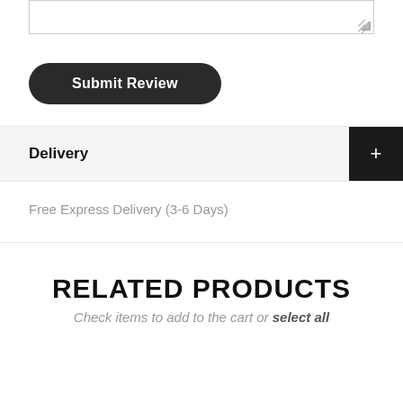[Figure (screenshot): A textarea input box with resize handle in bottom-right corner]
Submit Review
Delivery
Free Express Delivery (3-6 Days)
RELATED PRODUCTS
Check items to add to the cart or select all